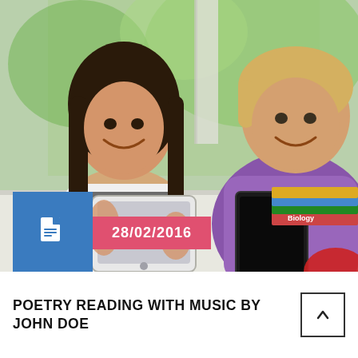[Figure (photo): Two teenagers sitting at a table, smiling and looking at tablets/e-readers together. A girl with long dark hair in a striped shirt holds a white tablet, and a boy in a purple polo shirt holds a dark tablet. Textbooks are stacked on the table beside them. Background shows a blurred outdoor scene through a window.]
28/02/2016
POETRY READING WITH MUSIC BY JOHN DOE